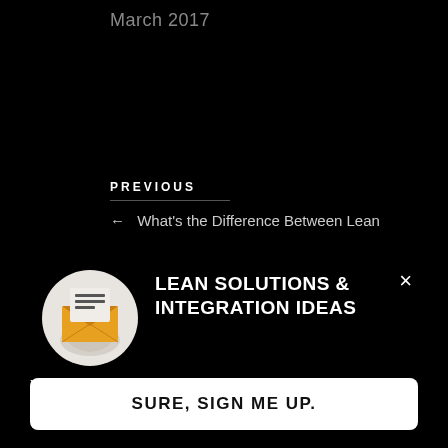March 2017
PREVIOUS
← What's the Difference Between Lean
[Figure (illustration): Circular icon showing a hand holding an envelope with a document/newsletter inside, colored in white, gray and yellow/orange tones]
LEAN SOLUTIONS & INTEGRATION IDEAS
You're really busy, but lean integration is important to you. Get our helpful content delivered straight to your inbox.
SURE, SIGN ME UP.